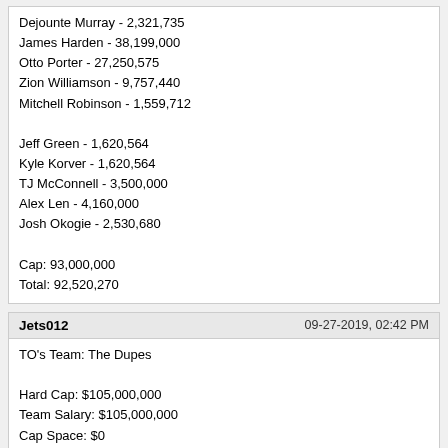Dejounte Murray - 2,321,735
James Harden - 38,199,000
Otto Porter - 27,250,575
Zion Williamson - 9,757,440
Mitchell Robinson - 1,559,712

Jeff Green - 1,620,564
Kyle Korver - 1,620,564
TJ McConnell - 3,500,000
Alex Len - 4,160,000
Josh Okogie - 2,530,680

Cap: 93,000,000
Total: 92,520,270
Jets012	09-27-2019, 02:42 PM
TO's Team: The Dupes

Hard Cap: $105,000,000
Team Salary: $105,000,000
Cap Space: $0

Depth Chart:
Damian Lillard | Alex Caruso
Landry Shamet | CJ Williams
Justise Winslow | Rondae Hollis JEfferson
Draymond Green | Patrick Patterson
Marc Gasol | Harry Giles
Powered by vBulletin® Version 4.2.3 Copyright © 2022 vBulletin Solutions, Inc. All rights reserved.